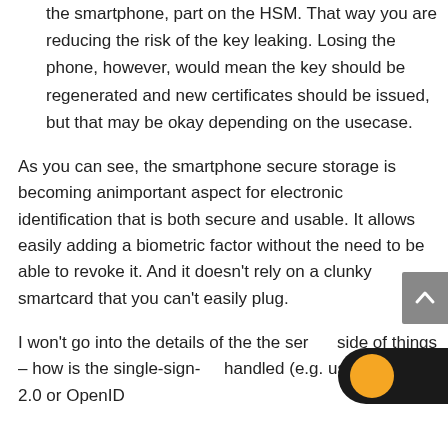the smartphone, part on the HSM. That way you are reducing the risk of the key leaking. Losing the phone, however, would mean the key should be regenerated and new certificates should be issued, but that may be okay depending on the usecase.
As you can see, the smartphone secure storage is becoming animportant aspect for electronic identification that is both secure and usable. It allows easily adding a biometric factor without the need to be able to revoke it. And it doesn't rely on a clunky smartcard that you can't easily plug.
I won't go into the details of the the server side of things – how is the single-sign-on handled (e.g. using SAML 2.0 or OpenID